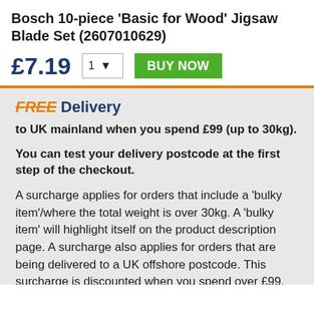Bosch 10-piece 'Basic for Wood' Jigsaw Blade Set (2607010629)
£7.19
FREE Delivery
to UK mainland when you spend £99 (up to 30kg).
You can test your delivery postcode at the first step of the checkout.
A surcharge applies for orders that include a 'bulky item'/where the total weight is over 30kg. A 'bulky item' will highlight itself on the product description page. A surcharge also applies for orders that are being delivered to a UK offshore postcode. This surcharge is discounted when you spend over £99.